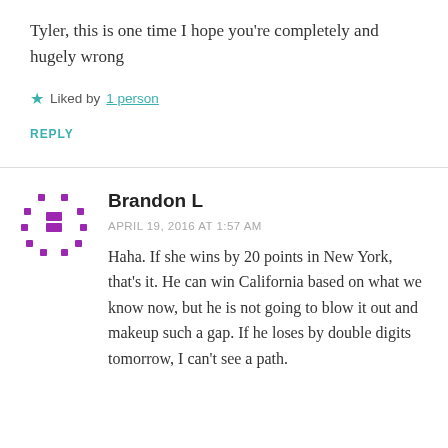Tyler, this is one time I hope you're completely and hugely wrong
★ Liked by 1 person
REPLY
Brandon L
APRIL 19, 2016 AT 1:57 AM
Haha. If she wins by 20 points in New York, that's it. He can win California based on what we know now, but he is not going to blow it out and makeup such a gap. If he loses by double digits tomorrow, I can't see a path.